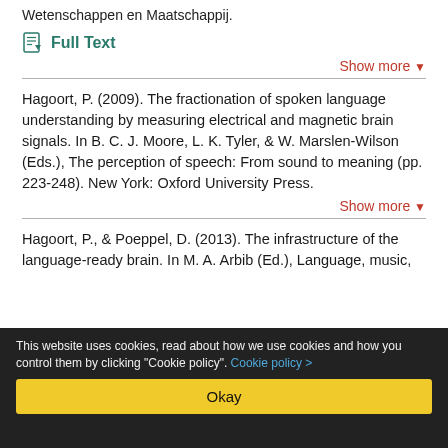Wetenschappen en Maatschappij.
Full Text
Show more
Hagoort, P. (2009). The fractionation of spoken language understanding by measuring electrical and magnetic brain signals. In B. C. J. Moore, L. K. Tyler, & W. Marslen-Wilson (Eds.), The perception of speech: From sound to meaning (pp. 223-248). New York: Oxford University Press.
Show more
Hagoort, P., & Poeppel, D. (2013). The infrastructure of the language-ready brain. In M. A. Arbib (Ed.), Language, music,
This website uses cookies, read about how we use cookies and how you control them by clicking "Cookie policy". Cookie policy > Okay